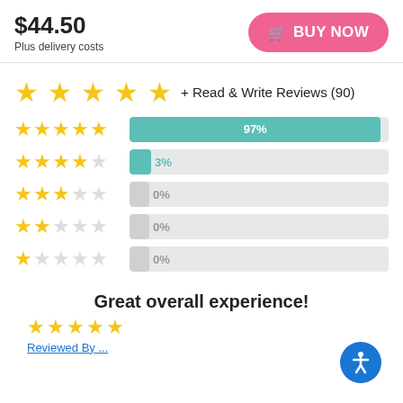$44.50
Plus delivery costs
BUY NOW
[Figure (other): Five gold stars rating with text '+ Read & Write Reviews (90)']
[Figure (bar-chart): Star rating distribution]
Great overall experience!
[Figure (other): Five gold stars rating for review]
Reviewed By ...